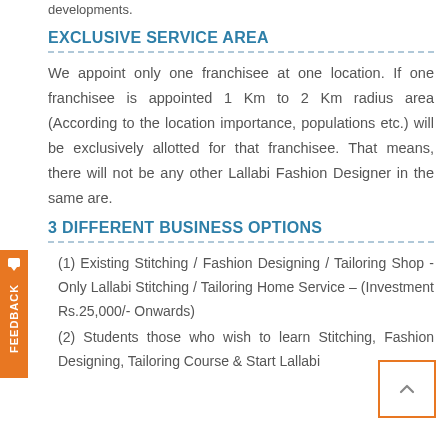developments.
EXCLUSIVE SERVICE AREA
We appoint only one franchisee at one location. If one franchisee is appointed 1 Km to 2 Km radius area (According to the location importance, populations etc.) will be exclusively allotted for that franchisee. That means, there will not be any other Lallabi Fashion Designer in the same are.
3 DIFFERENT BUSINESS OPTIONS
(1) Existing Stitching / Fashion Designing / Tailoring Shop - Only Lallabi Stitching / Tailoring Home Service – (Investment Rs.25,000/- Onwards)
(2) Students those who wish to learn Stitching, Fashion Designing, Tailoring Course & Start Lallabi